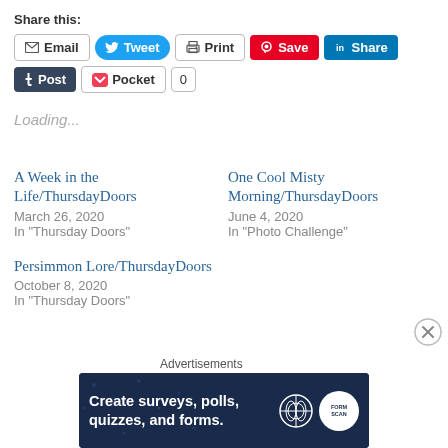Share this:
[Figure (screenshot): Row of social share buttons: Email, Tweet (Twitter/blue), Print, Save (Pinterest/red), Share (LinkedIn/blue), Post (Tumblr/dark), Pocket with count 0]
Loading...
A Week in the Life/ThursdayDoors
March 26, 2020
In "Thursday Doors"
One Cool Misty Morning/ThursdayDoors
June 4, 2020
In "Photo Challenge"
Persimmon Lore/ThursdayDoors
October 8, 2020
In "Thursday Doors"
Advertisements
[Figure (screenshot): Advertisement banner: dark navy background with text 'Create surveys, polls, quizzes, and forms.' with WordPress logo and circular forms icon]